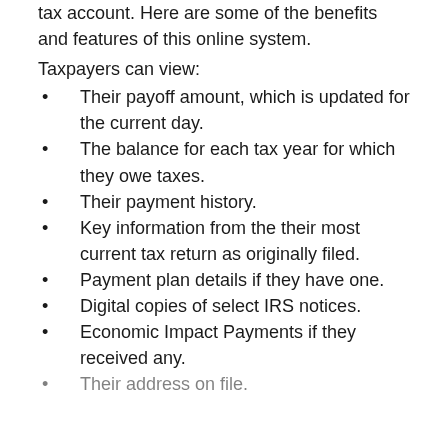tax account. Here are some of the benefits and features of this online system.
Taxpayers can view:
Their payoff amount, which is updated for the current day.
The balance for each tax year for which they owe taxes.
Their payment history.
Key information from the their most current tax return as originally filed.
Payment plan details if they have one.
Digital copies of select IRS notices.
Economic Impact Payments if they received any.
Their address on file.